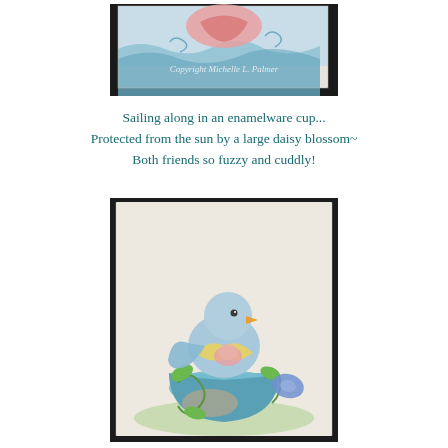[Figure (photo): A watercolor illustration on fabric showing a pink/red heart or flower shape with blue wave/swirl designs, with a copyright watermark reading 'Copyright Michelle L. Palmer']
Sailing along in an enamelware cup...
Protected from the sun by a large daisy blossom~
Both friends so fuzzy and cuddly!
[Figure (photo): A watercolor illustration on fabric showing a chubby bluebird sitting inside a teacup/enamelware cup with vines and leaves. The bird has a yellow/orange beak and wears a ruffled collar. A blue flower is visible to the right.]